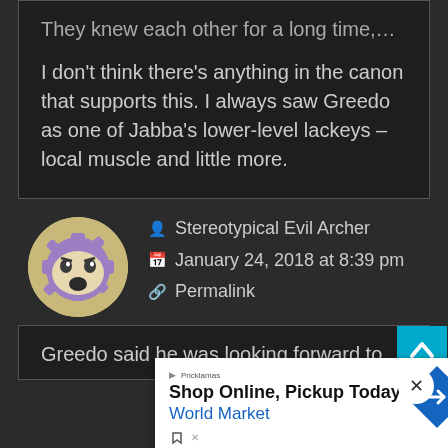They knew each other for a long time,…

I don't think there's anything in the canon that supports this. I always saw Greedo as one of Jabba's lower-level lackeys – local muscle and little more.
Stereotypical Evil Archer
January 24, 2018 at 8:39 pm
Permalink
Greedo said he was looking forward to
[Figure (screenshot): Advertisement overlay: Shop Online, Pickup Today - World Market, with blue arrow logo and ad controls]
[Figure (illustration): Circular avatar icon of a cartoon character - purple gear-shaped face with wide eyes and open mouth]